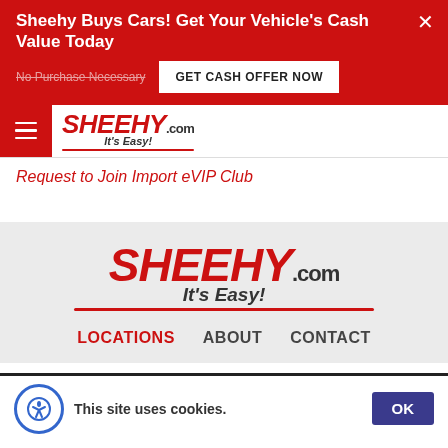Sheehy Buys Cars! Get Your Vehicle's Cash Value Today
No Purchase Necessary
GET CASH OFFER NOW
[Figure (logo): Sheehy.com It's Easy! logo - small version in navigation bar]
Request to Join Import eVIP Club
[Figure (logo): Sheehy.com It's Easy! logo - large version in footer area]
LOCATIONS   ABOUT   CONTACT
This site uses cookies.
OK